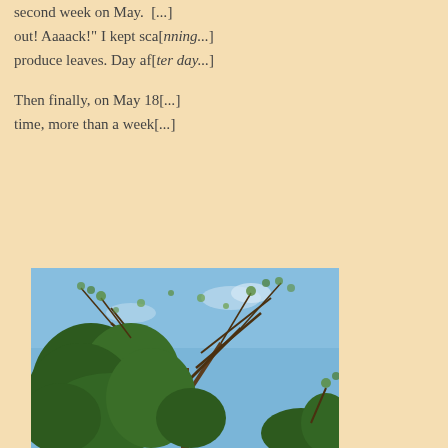second week on May. [...]  out! Aaaack!" I kept sca[nning...] produce leaves. Day af[ter day...]
Then finally, on May 18[...] time, more than a week[...]
[Figure (photo): Photograph of a tree with sparse early spring leaves against a blue sky, shot from below looking up.]